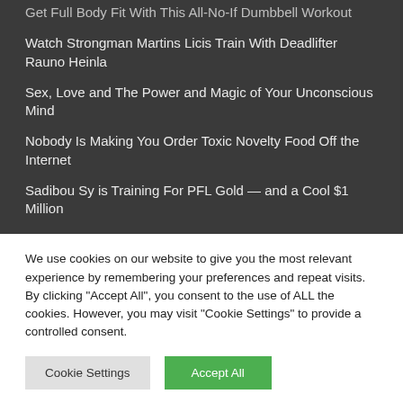Get Full Body Fit With This All-No-If Dumbbell Workout
Watch Strongman Martins Licis Train With Deadlifter Rauno Heinla
Sex, Love and The Power and Magic of Your Unconscious Mind
Nobody Is Making You Order Toxic Novelty Food Off the Internet
Sadibou Sy is Training For PFL Gold — and a Cool $1 Million
We use cookies on our website to give you the most relevant experience by remembering your preferences and repeat visits. By clicking "Accept All", you consent to the use of ALL the cookies. However, you may visit "Cookie Settings" to provide a controlled consent.
Cookie Settings | Accept All
[Figure (logo): TrustedSite CERTIFIED SECURE badge with green checkmark]